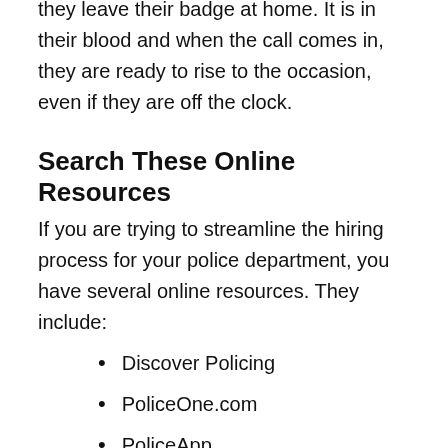they leave their badge at home. It is in their blood and when the call comes in, they are ready to rise to the occasion, even if they are off the clock.
Search These Online Resources
If you are trying to streamline the hiring process for your police department, you have several online resources. They include:
Discover Policing
PoliceOne.com
PoliceApp
PublicSafetyApp